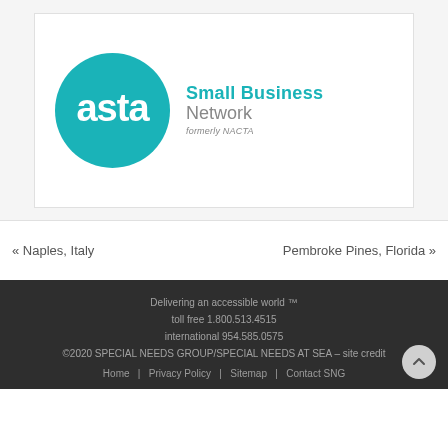[Figure (logo): ASTA Small Business Network logo (formerly NACTA) — teal circle with white 'asta' text, next to 'Small Business Network / formerly NACTA' text]
« Naples, Italy
Pembroke Pines, Florida »
Delivering an accessible world ™
toll free 1.800.513.4515
international 954.585.0575
©2020 SPECIAL NEEDS GROUP/SPECIAL NEEDS AT SEA – site credit
Home   Privacy Policy   Sitemap   Contact SNG